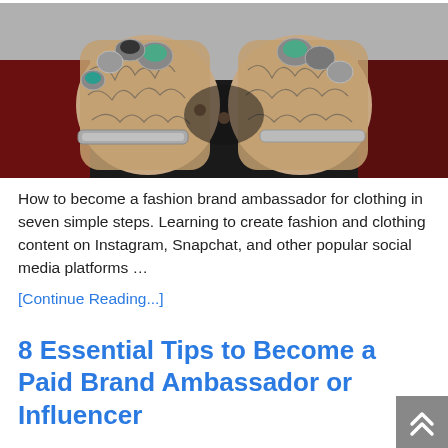[Figure (photo): Close-up photo of tattooed hands adorned with large silver rings and bracelets, clasped together over a dark jacket.]
How to become a fashion brand ambassador for clothing in seven simple steps. Learning to create fashion and clothing content on Instagram, Snapchat, and other popular social media platforms …
[Continue Reading...]
8 Essential Tips to Become a Paid Brand Ambassador or Influencer